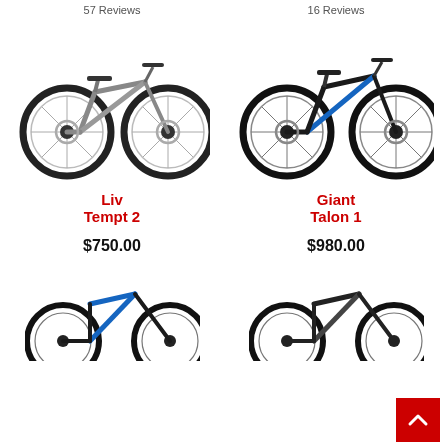57 Reviews
16 Reviews
[Figure (photo): Gray Liv Tempt 2 mountain bike on white background]
[Figure (photo): Black and blue Giant Talon 1 mountain bike on white background]
Liv
Tempt 2
Giant
Talon 1
$750.00
$980.00
[Figure (photo): Partial view of a blue road/mountain bike, bottom portion visible]
[Figure (photo): Partial view of a dark road/mountain bike, bottom portion visible]